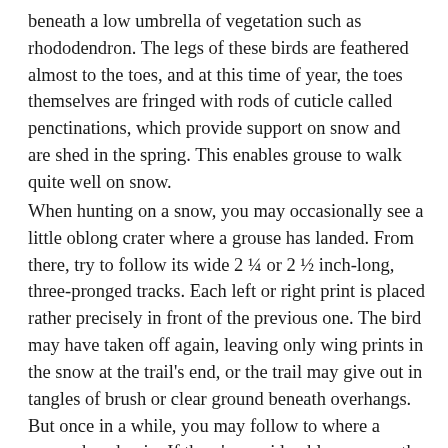beneath a low umbrella of vegetation such as rhododendron. The legs of these birds are feathered almost to the toes, and at this time of year, the toes themselves are fringed with rods of cuticle called penctinations, which provide support on snow and are shed in the spring. This enables grouse to walk quite well on snow.
When hunting on a snow, you may occasionally see a little oblong crater where a grouse has landed. From there, try to follow its wide 2 ¼ or 2 ½ inch-long, three-pronged tracks. Each left or right print is placed rather precisely in front of the previous one. The bird may have taken off again, leaving only wing prints in the snow at the trail's end, or the trail may give out in tangles of brush or clear ground beneath overhangs. But once in a while, you may follow to where a grouse has dug in. If there's considerable snow on the ground, try to mark down any bird you move as precisely as you can. Working on snow, your dog might otherwise have trouble locating it for a second flush. Or perhaps you're hunting without a dog. Either way